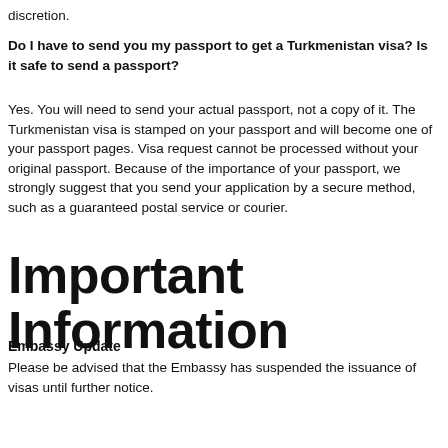discretion.
Do I have to send you my passport to get a Turkmenistan visa? Is it safe to send a passport?
Yes. You will need to send your actual passport, not a copy of it. The Turkmenistan visa is stamped on your passport and will become one of your passport pages. Visa request cannot be processed without your original passport. Because of the importance of your passport, we strongly suggest that you send your application by a secure method, such as a guaranteed postal service or courier.
Important Information
Embassy Update
Please be advised that the Embassy has suspended the issuance of visas until further notice.